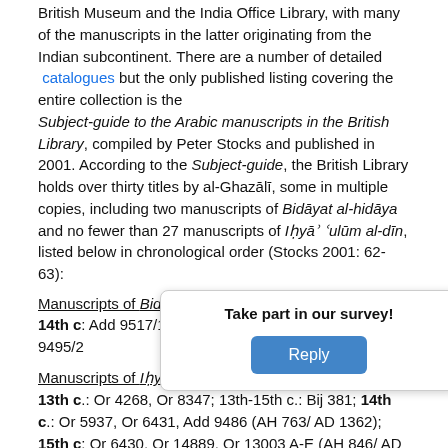British Museum and the India Office Library, with many of the manuscripts in the latter originating from the Indian subcontinent. There are a number of detailed catalogues but the only published listing covering the entire collection is the Subject-guide to the Arabic manuscripts in the British Library, compiled by Peter Stocks and published in 2001. According to the Subject-guide, the British Library holds over thirty titles by al-Ghazālī, some in multiple copies, including two manuscripts of Bidāyat al-hidāya and no fewer than 27 manuscripts of Iḥyāʾ ʿulūm al-dīn, listed below in chronological order (Stocks 2001: 62-63):
Manuscripts of Bidāyat al-hidāya in the British Library:
14th c: Add 9517/1 (AH 800/ AD 1397); 17th c: Add 9495/2
Manuscripts of Iḥyāʾ ʿulūm al-dīn in the British Library:
13th c.: Or 4268, Or 8347; 13th-15th c.: Bij 381; 14th c.: Or 5937, Or 6431, Add 9486 (AH 763/ AD 1362); 15th c: Or 6430, Or 14889, Or 13003 A-E (AH 846/ AD 1442), Add 23479 (AH 890/ [AD 1]485); 16th c.: Or 4374, O[r ...] 2021 (AH 952/AD 15[...]) IO Islamic 21[...] AD 1698); 18th c.: IO [...] 1769,
[Figure (other): Survey overlay popup with text 'Take part in our survey!' and a blue 'Reply' button, partially covering the text content below.]